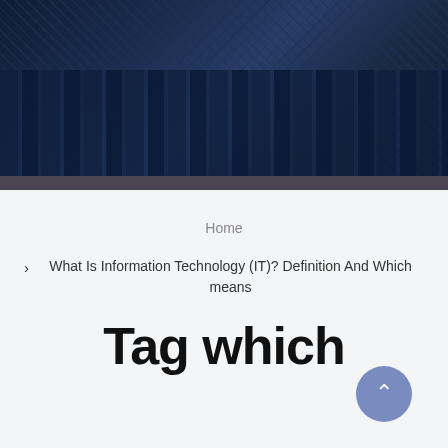[Figure (photo): Dark navy blue aerial city view hero image at the top of the page]
Home
> What Is Information Technology (IT)? Definition And Which means
Tag which